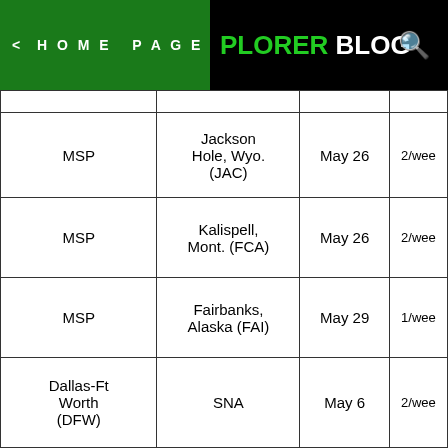< HOME PAGE | PLORER BLOG (search icon)
| From | To | Start Date | Frequency |
| --- | --- | --- | --- |
| MSP | Jackson Hole, Wyo. (JAC) | May 26 | 2/wee... |
| MSP | Kalispell, Mont. (FCA) | May 26 | 2/wee... |
| MSP | Fairbanks, Alaska (FAI) | May 29 | 1/wee... |
| Dallas-Ft Worth (DFW) | SNA | May 6 | 2/wee... |
| DFW | Puerto Vallarta | June 4 | 2/wee... |